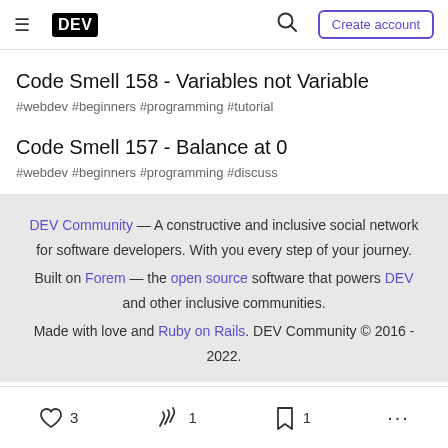DEV — Create account
Code Smell 158 - Variables not Variable
#webdev #beginners #programming #tutorial
Code Smell 157 - Balance at 0
#webdev #beginners #programming #discuss
DEV Community — A constructive and inclusive social network for software developers. With you every step of your journey. Built on Forem — the open source software that powers DEV and other inclusive communities. Made with love and Ruby on Rails. DEV Community © 2016 - 2022.
3  1  1  ...